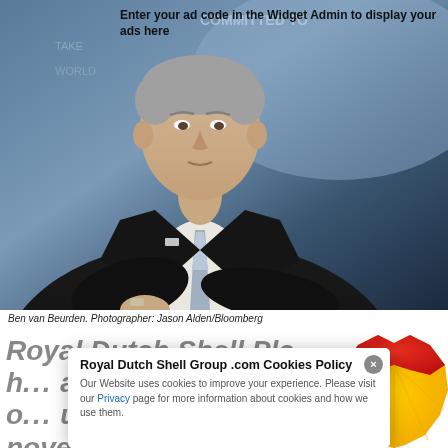[Figure (photo): Portrait photo of Ben van Beurden, a man in a dark suit and blue tie, sitting at an event, with a blurred background showing text 'COMMITTED TO'.]
Enter your ad code in the Widget Admin to display your ads here
Ben van Beurden. Photographer: Jason Alden/Bloomberg
Royal Dutch Shell Plc h... a... o... n...ovel coronavirus took
Royal Dutch Shell Group .com Cookies Policy
Our Website uses cookies to improve your experience. Please visit our Privacy page for more information about cookies and how we use them.